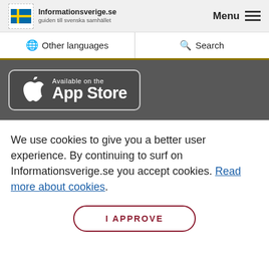Informationsverige.se guiden till svenska samhället | Menu
Other languages | Search
[Figure (screenshot): App Store download button with Apple logo on dark grey background]
We use cookies to give you a better user experience. By continuing to surf on Informationsverige.se you accept cookies. Read more about cookies.
I APPROVE